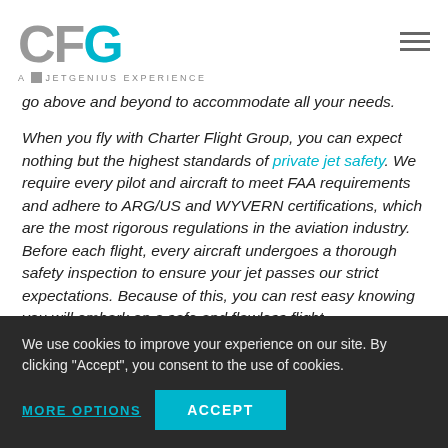CFG — A JETGENIUS EXPERIENCE
go above and beyond to accommodate all your needs.
When you fly with Charter Flight Group, you can expect nothing but the highest standards of private jet safety. We require every pilot and aircraft to meet FAA requirements and adhere to ARG/US and WYVERN certifications, which are the most rigorous regulations in the aviation industry. Before each flight, every aircraft undergoes a thorough safety inspection to ensure your jet passes our strict expectations. Because of this, you can rest easy knowing you will embark on a safe and flawless flight.
We use cookies to improve your experience on our site. By clicking "Accept", you consent to the use of cookies.
MORE OPTIONS   ACCEPT